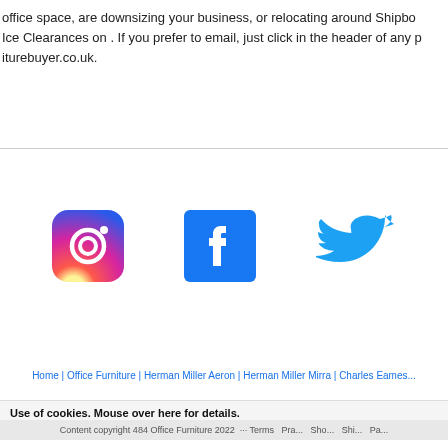office space, are downsizing your business, or relocating around Shipbo... Ice Clearances on . If you prefer to email, just click in the header of any p... iturebuyer.co.uk.
[Figure (logo): Instagram logo icon - rounded square with gradient purple/pink/orange background and white camera outline]
[Figure (logo): Facebook logo icon - blue square with white lowercase f]
[Figure (logo): Twitter logo icon - blue bird silhouette on white background]
Home | Office Furniture | Herman Miller Aeron | Herman Miller Mirra | Charles Eames...
Use of cookies. Mouse over here for details.
Content copyright 484 Office Furniture 2022 ... Terms Pra... Sho... Shi... Pa...